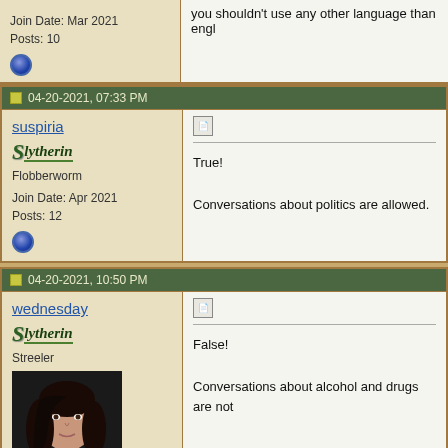Join Date: Mar 2021
Posts: 10
you shouldn't use any other language than engl
04-20-2021, 07:33 PM
suspiria
Flobberworm
Join Date: Apr 2021
Posts: 12
True!

Conversations about politics are allowed.
04-20-2021, 10:50 PM
wednesday
Streeler
False!

Conversations about alcohol and drugs are not
[Figure (photo): Portrait photo of a young woman with long dark hair against dark background]